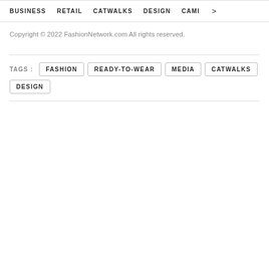BUSINESS   RETAIL   CATWALKS   DESIGN   CAMI  >
Copyright © 2022 FashionNetwork.com All rights reserved.
TAGS :  FASHION  READY-TO-WEAR  MEDIA  CATWALKS  DESIGN